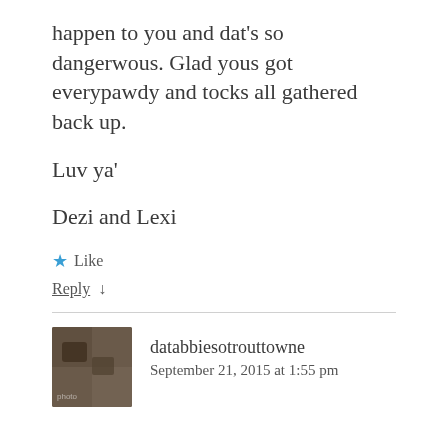happen to you and dat's so dangerwous. Glad yous got everypawdy and tocks all gathered back up.
Luv ya'
Dezi and Lexi
★ Like
Reply ↓
databbiesotrouttowne
September 21, 2015 at 1:55 pm